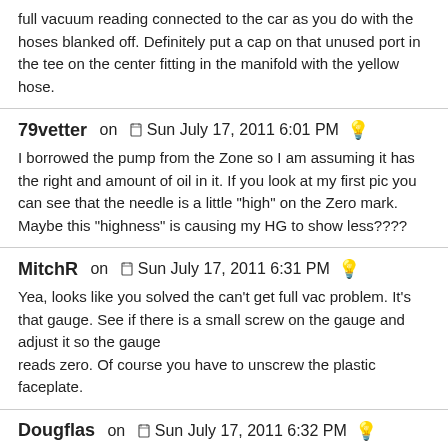full vacuum reading connected to the car as you do with the hoses blanked off. Definitely put a cap on that unused port in the tee on the center fitting in the manifold with the yellow hose.
79vetter on Sun July 17, 2011 6:01 PM
I borrowed the pump from the Zone so I am assuming it has the right and amount of oil in it. If you look at my first pic you can see that the needle is a little "high" on the Zero mark. Maybe this "highness" is causing my HG to show less????
MitchR on Sun July 17, 2011 6:31 PM
Yea, looks like you solved the can't get full vac problem. It's that gauge. See if there is a small screw on the gauge and adjust it so the gauge reads zero. Of course you have to unscrew the plastic faceplate.
Dougflas on Sun July 17, 2011 6:32 PM
that black cap labeled "oil" should NOT be removed. It must